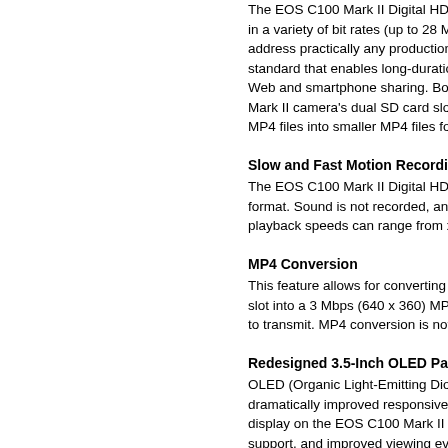The EOS C100 Mark II Digital HD Camera records in a variety of bit rates (up to 28 Mbps) and formats to address practically any production need, with a compact standard that enables long-duration recording and easy Web and smartphone sharing. Both formats use the C100 Mark II camera's dual SD card slots can also convert MXF/MP4 files into smaller MP4 files for web sharing.
Slow and Fast Motion Recording
The EOS C100 Mark II Digital HD Camera records in format. Sound is not recorded, and the resulting playback speeds can range from x0.4
MP4 Conversion
This feature allows for converting an AVCHD file in one slot into a 3 Mbps (640 x 360) MP4 file that is easy to transmit. MP4 conversion is not possible
Redesigned 3.5-Inch OLED Panel
OLED (Organic Light-Emitting Diode) panels offer dramatically improved responsiveness. The OLED display on the EOS C100 Mark II delivers touch support, and improved viewing even in hinge design to help maximize monitor